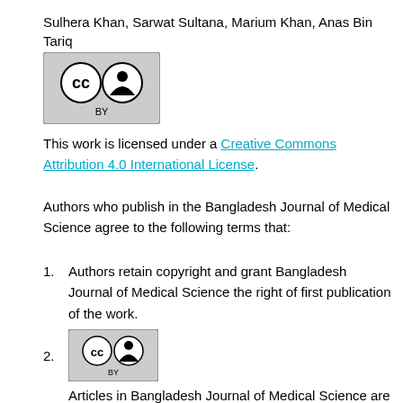Sulhera Khan, Sarwat Sultana, Marium Khan, Anas Bin Tariq
[Figure (logo): Creative Commons CC BY license badge]
This work is licensed under a Creative Commons Attribution 4.0 International License.
Authors who publish in the Bangladesh Journal of Medical Science agree to the following terms that:
Authors retain copyright and grant Bangladesh Journal of Medical Science the right of first publication of the work.
[Figure (logo): Creative Commons CC BY license badge (smaller)]
Articles in Bangladesh Journal of Medical Science are licensed under a Creative Commons Attribution 4.0 International License CC BY-4.0.This license permits use, distribution and reproduction in any medium, provided the original work is properly cited.
Authors are able to enter into separate, additional contractual arrangements for the distribution of the journal's published